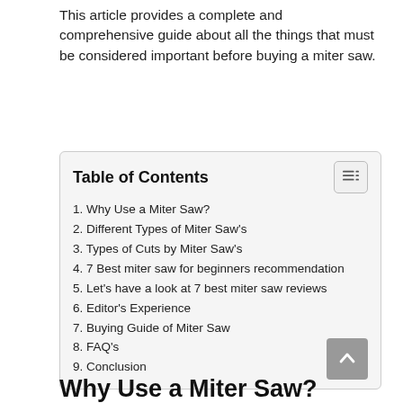This article provides a complete and comprehensive guide about all the things that must be considered important before buying a miter saw.
| 1. Why Use a Miter Saw? |
| 2. Different Types of Miter Saw's |
| 3. Types of Cuts by Miter Saw's |
| 4. 7 Best miter saw for beginners recommendation |
| 5. Let's have a look at 7 best miter saw reviews |
| 6. Editor's Experience |
| 7. Buying Guide of Miter Saw |
| 8. FAQ's |
| 9. Conclusion |
Why Use a Miter Saw?